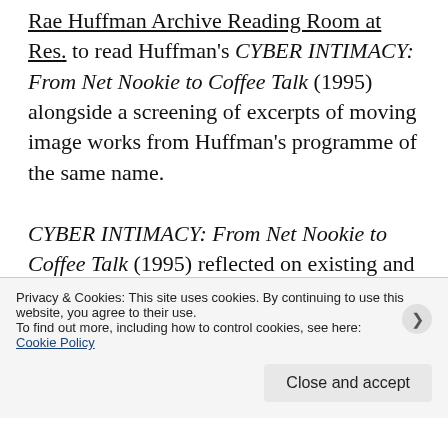Rae Huffman Archive Reading Room at Res. to read Huffman's CYBER INTIMACY: From Net Nookie to Coffee Talk (1995) alongside a screening of excerpts of moving image works from Huffman's programme of the same name.

CYBER INTIMACY: From Net Nookie to Coffee Talk (1995) reflected on existing and potential modes of intimacy, sensuality and sex in the medium of digital broadcasting in the early 90's. This reading and watching group aims to bring to [partial line cut off]
Privacy & Cookies: This site uses cookies. By continuing to use this website, you agree to their use.
To find out more, including how to control cookies, see here:
Cookie Policy
Close and accept